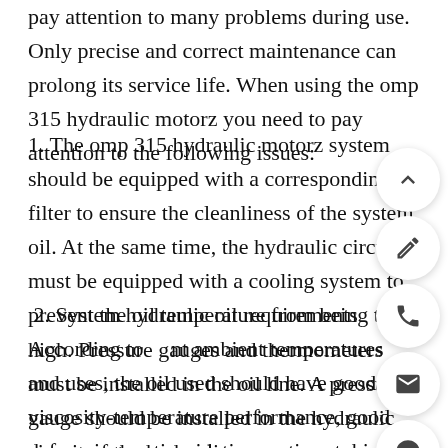pay attention to many problems during use. Only precise and correct maintenance can prolong its service life. When using the omp 315 hydraulic motorz you need to pay attention to the following issues:
1. The omp 315 hydraulic motorz system should be equipped with a corresponding oil filter to ensure the cleanliness of the system oil. At the same time, the hydraulic circuit must be equipped with a cooling system to prevent the oil temperature from being too high. Pressure gauges and thermometers must be installed in the oil line. A pressure gauge should be installed in the hydraulic circuit of the hydraulic pump.
2. System hydraulic oil requirements According to different ambient temperatures and uses, the oil used should have good viscosity-temperature performance, good defoaming, anti-oxidation, anti-rust, high flash point, etc. The viscosity of the motor is between (25-70)*10-6m2/s, and the water,